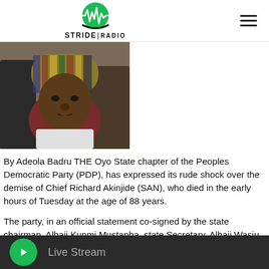[Figure (logo): Stride Radio logo — green circle with waveform/heartbeat icon above, text STRIDE|RADIO below]
[Figure (photo): Elderly Nigerian man wearing traditional striped cap and white attire, seated, looking at camera]
By Adeola Badru THE Oyo State chapter of the Peoples Democratic Party (PDP), has expressed its rude shock over the demise of Chief Richard Akinjide (SAN), who died in the early hours of Tuesday at the age of 88 years.
The party, in an official statement co-signed by the state chairman, Alhaji Kunmi Mustapha, state Secretary, Alhaji Wasiu Adeleke and
[Figure (other): Bottom media player bar with green play button and Live Stream label on dark background]